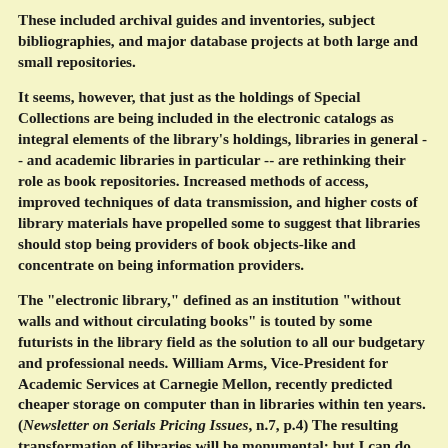These included archival guides and inventories, subject bibliographies, and major database projects at both large and small repositories.
It seems, however, that just as the holdings of Special Collections are being included in the electronic catalogs as integral elements of the library's holdings, libraries in general -- and academic libraries in particular -- are rethinking their role as book repositories. Increased methods of access, improved techniques of data transmission, and higher costs of library materials have propelled some to suggest that libraries should stop being providers of book objects-like and concentrate on being information providers.
The "electronic library," defined as an institution "without walls and without circulating books" is touted by some futurists in the library field as the solution to all our budgetary and professional needs. William Arms, Vice-President for Academic Services at Carnegie Mellon, recently predicted cheaper storage on computer than in libraries within ten years. (Newsletter on Serials Pricing Issues, n.7, p.4) The resulting transformation of libraries will be monumental; but I can do some predicting too. In my crystal ball I see: First, the electronic library will be an incremental event; the transformation of institutions will